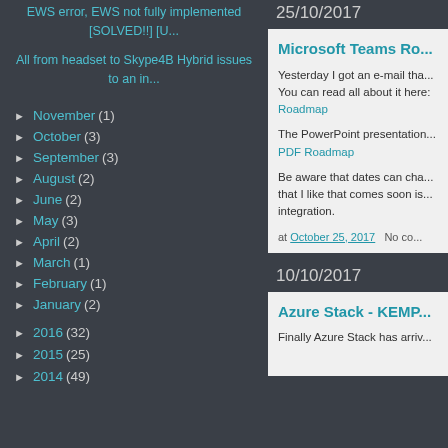EWS error, EWS not fully implemented [SOLVED!!] [U...
All from headset to Skype4B Hybrid issues to an in...
► November (1)
► October (3)
► September (3)
► August (2)
► June (2)
► May (3)
► April (2)
► March (1)
► February (1)
► January (2)
► 2016 (32)
► 2015 (25)
► 2014 (49)
25/10/2017
Microsoft Teams Ro...
Yesterday I got an e-mail tha... You can read all about it here: Roadmap
The PowerPoint presentation... PDF Roadmap
Be aware that dates can cha... that I like that comes soon is... integration.
at October 25, 2017    No co...
10/10/2017
Azure Stack - KEMP...
Finally Azure Stack has arriv...